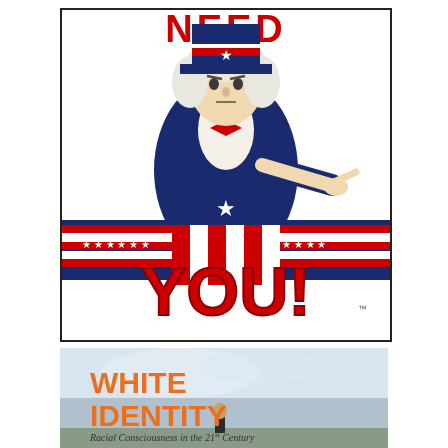[Figure (illustration): Uncle Sam 'I Want You' recruitment poster showing Uncle Sam in top hat pointing at viewer, with red white and blue stars and stripes banner, text 'NEED' at top and 'YOU!' at bottom in large red block letters]
[Figure (illustration): Book cover for 'White Identity: Racial Consciousness in the 21st Century' showing orange title text on a cloudy sky background with a silhouetted figure]